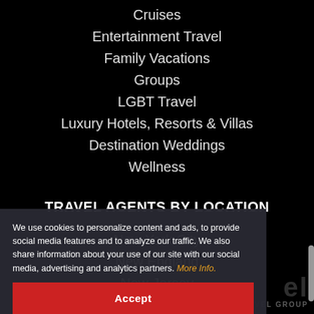Cruises
Entertainment Travel
Family Vacations
Groups
LGBT Travel
Luxury Hotels, Resorts & Villas
Destination Weddings
Wellness
TRAVEL AGENTS BY LOCATION
New York City
New England
New Jersey
Los Angeles
We use cookies to personalize content and ads, to provide social media features and to analyze our traffic. We also share information about your use of our site with our social media, advertising and analytics partners. More Info.
Accept